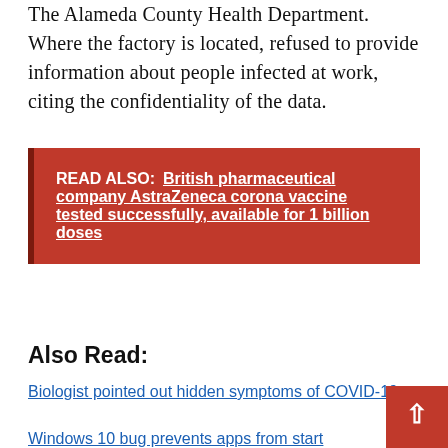The Alameda County Health Department. Where the factory is located, refused to provide information about people infected at work, citing the confidentiality of the data.
READ ALSO: British pharmaceutical company AstraZeneca corona vaccine tested successfully, available for 1 billion doses
Also Read:
Biologist pointed out hidden symptoms of COVID-19
Windows 10 bug prevents apps from start
A new symptom of coronavirus detected